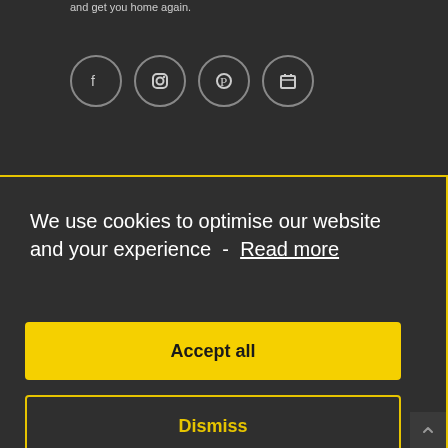and get you home again.
[Figure (infographic): Four social media icon circles: Facebook, Instagram, Pinterest, and a calendar/briefcase icon, arranged horizontally]
We use cookies to optimise our website and your experience  -  Read more
Accept all
Dismiss
Preferences